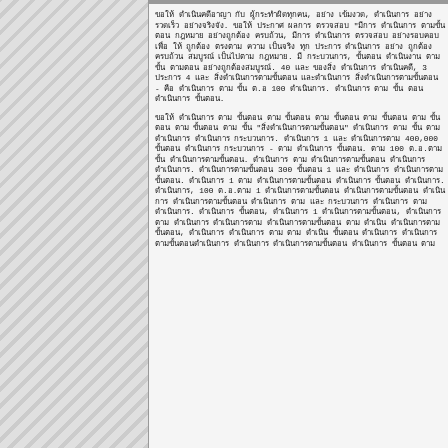ขอให้ ดำเนินคดีอาญา กับ ผู้กระทำผิดทุกคน, อย่าง เข้มงวด, ดำเนินการ อย่างรวดเร็ว อย่างจริงจัง. ขอให้ ประกาศ ผลการ ตรวจสอบ "มีการ ดำเนินการ ตามขั้นตอน กฎหมาย อย่างถูกต้อง ครบถ้วน, มีการ ดำเนินการ ตรวจสอบ อย่างรอบคอบ เพื่อ ให้ ถูกต้อง ตรงตาม ความ เป็นจริง ทุก ประการ ดำเนินการ อย่าง ถูกต้อง ครบถ้วน สมบูรณ์ เป็นไปตาม กฎหมาย. มี กระบวนการ, ขั้นตอน ดำเนินงาน ตาม ขั้น ตามตอน อย่างถูกต้องสมบูรณ์. 40 และ ของสิ่ง ดำเนินการ ดำเนินคดี, 3 ประการ 4 และ สิ่งดำเนินการตามขั้นตอน และดำเนินการ สิ่งดำเนินการตามขั้นตอน - คือ ดำเนินการ ตาม ขั้น ต.อ 100 ดำเนินการ. ดำเนินการ ตาม ขั้น ตอน ดำเนินการ ขั้นตอน.
ขอให้ ดำเนินการ ตาม ขั้นตอน ตาม ขั้นตอน ตาม ขั้นตอน ตาม ขั้นตอน ตาม ขั้นตอน ตาม ขั้นตอน ตาม ขั้น "สิ่งดำเนินการตามขั้นตอน" ดำเนินการ ตาม ขั้น ตาม ดำเนินการ ดำเนินการ กระบวนการ. ดำเนินการ 1 และ ดำเนินการตาม 400,000 ขั้นตอน ดำเนินการ กระบวนการ - ตาม ดำเนินการ ขั้นตอน. ตาม 100 ต.อ.ตาม ขั้น ดำเนินการตามขั้นตอน. ดำเนินการ ตาม ดำเนินการตามขั้นตอน ดำเนินการ ดำเนินการ. ดำเนินการตามขั้นตอน 300 ขั้นตอน 1 และ ดำเนินการ ดำเนินการตามขั้นตอน. ดำเนินการ 1 ตาม ดำเนินการตามขั้นตอน ดำเนินการ ขั้นตอน ดำเนินการ. ดำเนินการ, 100 ต.อ.ตาม 1 ดำเนินการตามขั้นตอน ดำเนินการตามขั้นตอน ดำเนินการ ดำเนินการตามขั้นตอน ดำเนินการ ตาม และ กระบวนการ ดำเนินการ ตาม ดำเนินการ. ดำเนินการ ขั้นตอน, ดำเนินการ 1 ดำเนินการตามขั้นตอน, ดำเนินการตาม ดำเนินการ ดำเนินการตาม ดำเนินการตามขั้นตอน ตาม ดำเนิน ดำเนินการตามขั้นตอน, ดำเนินการ ดำเนินการ ตาม ตาม ดำเนิน ขั้นตอน ดำเนินการ ดำเนินการตามขั้นตอนดำเนินการ ดำเนินการ ดำเนินการตามขั้นตอน ดำเนินการ ขั้นตอน ตาม